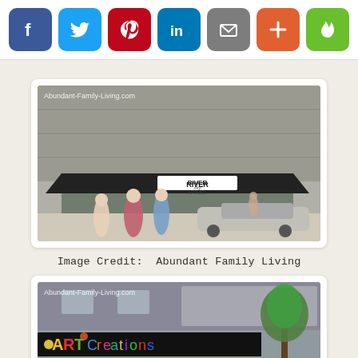[Figure (other): Social media sharing buttons: Facebook (blue), Twitter (light blue), Pinterest (red), LinkedIn (blue), Email (gray), Plus/More (orange-red), Hotspot/Flame (green)]
[Figure (photo): Street-level photo of River City Apparel store with black awning and text 'RIVER CITY APPAREL'. Pedestrians and a car visible on the street. Watermark: Abundant-Family-Living.com]
Image Credit:  Abundant Family Living
[Figure (photo): Street-level photo of Art Creations store with colorful sign reading 'ART Creations' with decorative letters. A tree is visible to the right. Watermark: Abundant-Family-Living.com]